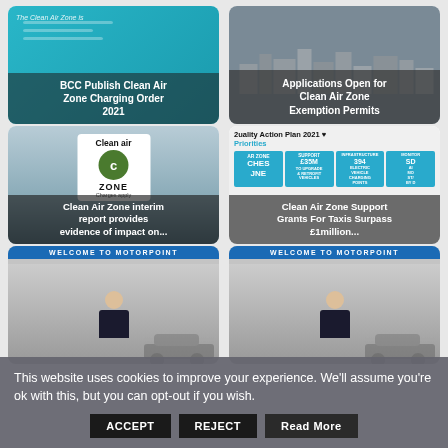[Figure (screenshot): Card 1: Teal background with text 'The Clean Air Zone is' and overlay 'BCC Publish Clean Air Zone Charging Order 2021']
[Figure (screenshot): Card 2: Grey city skyline background with overlay 'Applications Open for Clean Air Zone Exemption Permits']
[Figure (screenshot): Card 3: Clean Air Zone sign photo with overlay 'Clean Air Zone interim report provides evidence of impact on...']
[Figure (screenshot): Card 4: Quality Action Plan 2021 infographic with priorities including £35M, 394 electric vehicle charging points, overlay 'Clean Air Zone Support Grants For Taxis Surpass £1million...']
[Figure (screenshot): Card 5: Welcome to Motorpoint banner with person in showroom]
[Figure (screenshot): Card 6: Welcome to Motorpoint banner with person in showroom]
This website uses cookies to improve your experience. We'll assume you're ok with this, but you can opt-out if you wish.
ACCEPT | REJECT | Read More